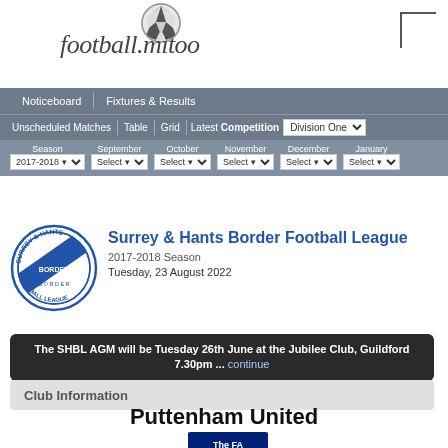[Figure (logo): football.mitoo website logo with soccer ball graphic]
Noticeboard | Fixtures & Results | Unscheduled Matches | Table | Grid | Latest Competition: Division One
Season 2017-2018 | September Select | October Select | November Select | December Select | January Select
[Figure (logo): Surrey & Hants Border Football League circular crest logo in blue]
Surrey & Hants Border Football League
2017-2018 Season
Tuesday, 23 August 2022
The SHBL AGM will be Tuesday 26th June at the Jubilee Club, Guildford 7.30pm ... continue
Club Information
Puttenham United
[Figure (logo): The FA logo partial]